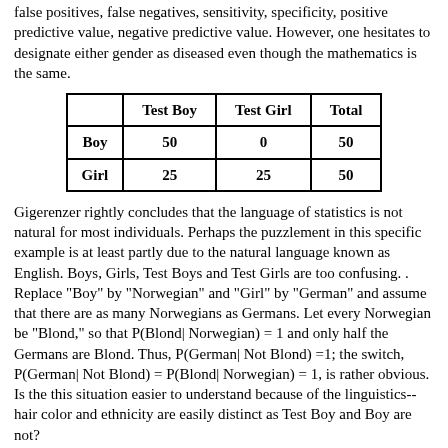false positives, false negatives, sensitivity, specificity, positive predictive value, negative predictive value. However, one hesitates to designate either gender as diseased even though the mathematics is the same.
|  | Test Boy | Test Girl | Total |
| --- | --- | --- | --- |
| Boy | 50 | 0 | 50 |
| Girl | 25 | 25 | 50 |
Gigerenzer rightly concludes that the language of statistics is not natural for most individuals. Perhaps the puzzlement in this specific example is at least partly due to the natural language known as English. Boys, Girls, Test Boys and Test Girls are too confusing. . Replace "Boy" by "Norwegian" and "Girl" by "German" and assume that there are as many Norwegians as Germans. Let every Norwegian be "Blond," so that P(Blond| Norwegian) = 1 and only half the Germans are Blond. Thus, P(German| Not Blond) =1; the switch, P(German| Not Blond) = P(Blond| Norwegian) = 1, is rather obvious. Is the this situation easier to understand because of the linguistics--hair color and ethnicity are easily distinct as Test Boy and Boy are not?
DISCUSSION QUESTIONS